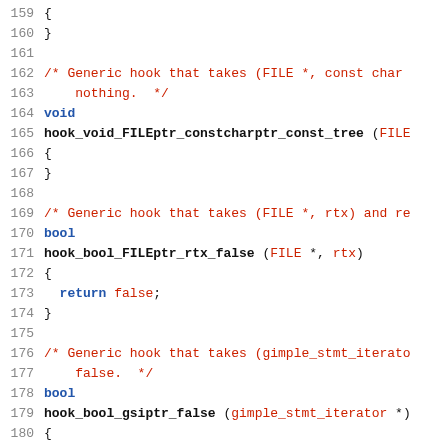Source code listing lines 159-180
159  {
160  }
161  
162  /* Generic hook that takes (FILE *, const char
163      nothing.  */
164  void
165  hook_void_FILEptr_constcharptr_const_tree (FILE
166  {
167  }
168  
169  /* Generic hook that takes (FILE *, rtx) and re
170  bool
171  hook_bool_FILEptr_rtx_false (FILE *, rtx)
172  {
173    return false;
174  }
175  
176  /* Generic hook that takes (gimple_stmt_iterato
177      false.  */
178  bool
179  hook_bool_gsiptr_false (gimple_stmt_iterator *)
180  {